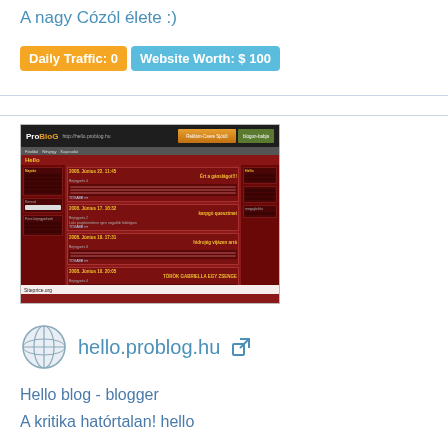A nagy Cózól élete :)
Daily Traffic: 0   Website Worth: $ 100
[Figure (screenshot): Screenshot of hello.problog.hu website showing ProBlog layout with dark red/maroon theme and blog posts in Hungarian]
hello.problog.hu
Hello blog - blogger
A kritika hatórtalan! hello